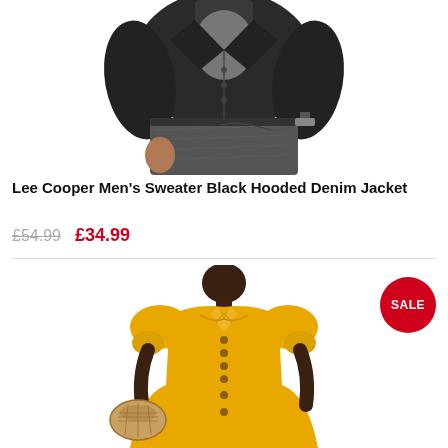[Figure (photo): Man wearing a black hooded denim jacket over grey jeans, showing torso and hands, cropped at top. Black and white/dark toned photograph on white background.]
Lee Cooper Men's Sweater Black Hooded Denim Jacket
£54.99 £34.99
[Figure (photo): Woman wearing a mustard/golden yellow button-front midi dress with puff sleeves, holding a wicker/rattan bag, on white background. Red SALE badge in top-right corner.]